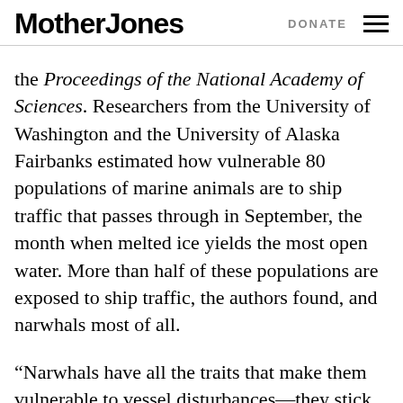Mother Jones | DONATE
the Proceedings of the National Academy of Sciences. Researchers from the University of Washington and the University of Alaska Fairbanks estimated how vulnerable 80 populations of marine animals are to ship traffic that passes through in September, the month when melted ice yields the most open water. More than half of these populations are exposed to ship traffic, the authors found, and narwhals most of all.
“Narwhals have all the traits that make them vulnerable to vessel disturbances—they stick to really specific areas, they’re pretty inflexible in where they spend the summer, they live in only about a quarter of the Arctic, and they’re smack dab